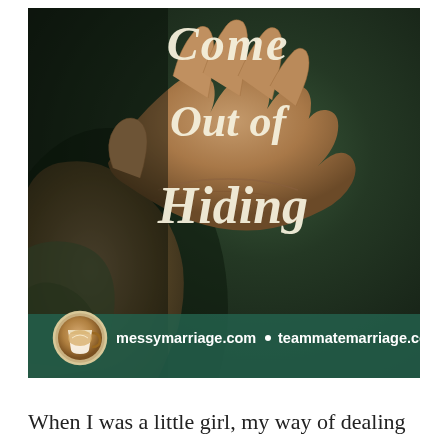[Figure (photo): A hand raised with palm facing outward against a dark teal/green background, with script text overlay reading 'Come Out of Hiding'. Bottom banner shows coffee cup icon and website URLs: messymarriage.com • teammatemarriage.com]
When I was a little girl, my way of dealing